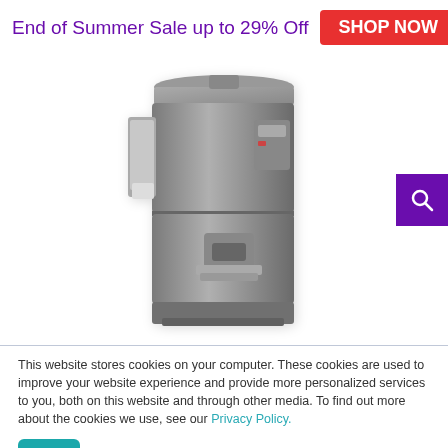End of Summer Sale up to 29% Off  SHOP NOW
[Figure (photo): A gray water cooler / water dispenser appliance shown from a slight angle, with a cup dispenser on the left side and dispenser nozzle in the middle-lower area.]
This website stores cookies on your computer. These cookies are used to improve your website experience and provide more personalized services to you, both on this website and through other media. To find out more about the cookies we use, see our Privacy Policy.
Accept